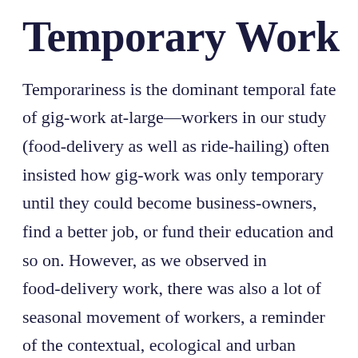Temporary Work
Temporariness is the dominant temporal fate of gig-work at-large—workers in our study (food-delivery as well as ride-hailing) often insisted how gig-work was only temporary until they could become business-owners, find a better job, or fund their education and so on. However, as we observed in food-delivery work, there was also a lot of seasonal movement of workers, a reminder of the contextual, ecological and urban migration continuities that inform, support and shape who comes to the reserve force/waiting zone of gig-work. In classic labour terms, the push and pull